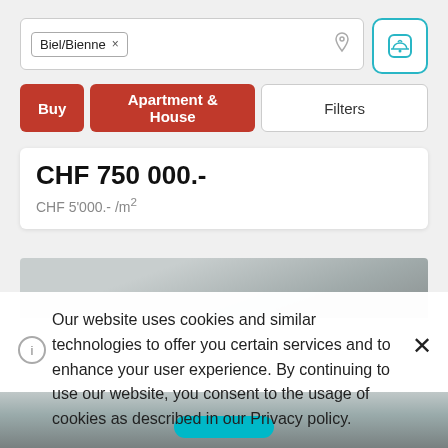Biel/Bienne x
Buy
Apartment & House
Filters
CHF 750 000.-
CHF 5'000.- /m²
[Figure (screenshot): Cookie consent overlay on a real estate listing page showing search for Biel/Bienne with Buy and Apartment & House filters]
Our website uses cookies and similar technologies to offer you certain services and to enhance your user experience. By continuing to use our website, you consent to the usage of cookies as described in our Privacy policy.